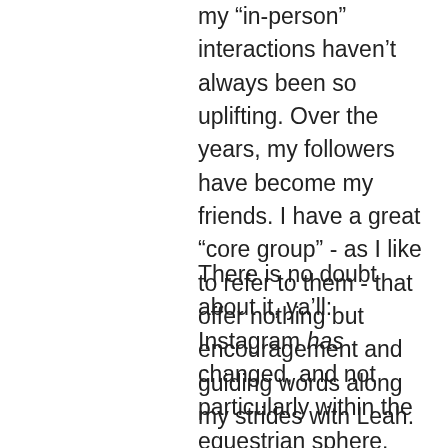my “in-person” interactions haven’t always been so uplifting. Over the years, my followers have become my friends. I have a great “core group” - as I like to refer to them - that offer nothing but encouragement and guiding words along my strides with Leah.
There is no doubt about it, ya’ll: Instagram has changed, and not particularly within the equestrian sphere. Four to five years ago, not a single fashion blogger appeared on my feed. Users weren’t fighting an algorithm and our friend’s posts were happily organized in chronological order. The filters used were those provided by the app or a free editing service, not purchased for Lightroom as